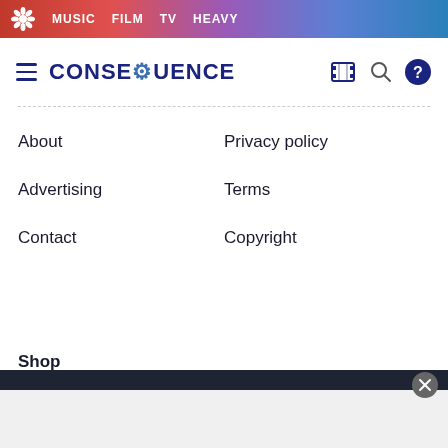MUSIC | FILM | TV | HEAVY
[Figure (logo): Consequence of Sound logo with hamburger menu, search, and help icons]
About
Privacy policy
Advertising
Terms
Contact
Copyright
Shop
Face Masks
T Shirts